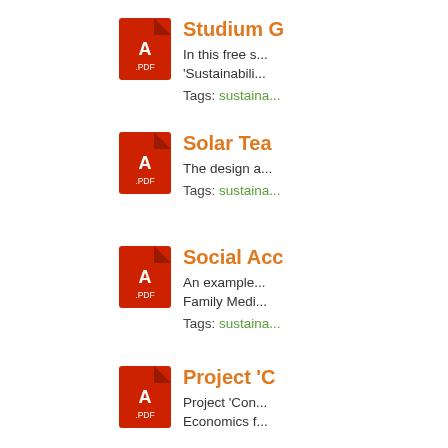Studium G... — In this free s... 'Sustainabili... Tags: sustaina...
Solar Tea... — The design a... Tags: sustaina...
Social Acc... — An example... Family Medi... Tags: sustaina...
Project 'C... — Project 'Con... Economics f...